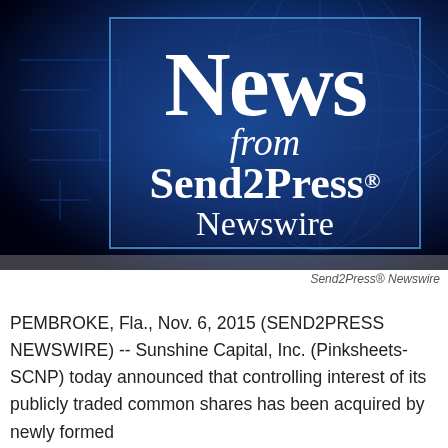[Figure (logo): Send2Press Newswire logo banner — dark blue background with financial/globe imagery, white text reading 'News from Send2Press® Newswire' inside a blue-bordered rectangle]
Send2Press® Newswire
PEMBROKE, Fla., Nov. 6, 2015 (SEND2PRESS NEWSWIRE) -- Sunshine Capital, Inc. (Pinksheets-SCNP) today announced that controlling interest of its publicly traded common shares has been acquired by newly formed